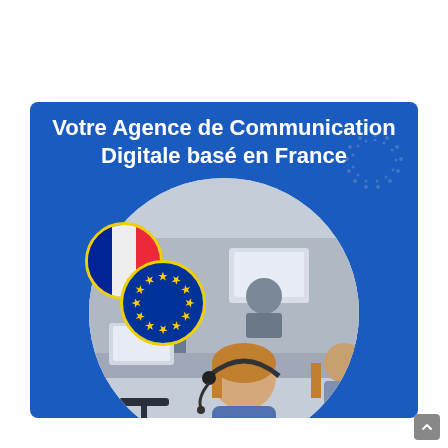[Figure (infographic): Blue banner/card with white bold French text 'Votre Agence de Communication Digitale basé en France', a dotted circle decoration top-right, a large white circle in the lower portion containing a simulated office photo with workers at desks, overlaid with a French flag circle and a European Union flag circle.]